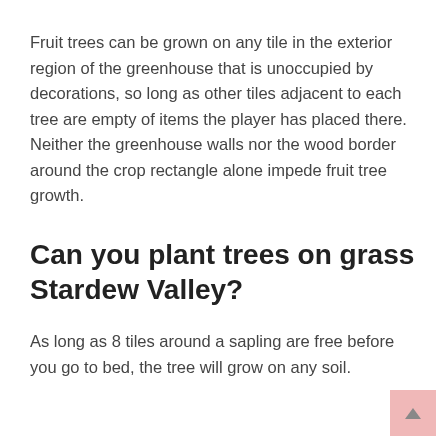Fruit trees can be grown on any tile in the exterior region of the greenhouse that is unoccupied by decorations, so long as other tiles adjacent to each tree are empty of items the player has placed there. Neither the greenhouse walls nor the wood border around the crop rectangle alone impede fruit tree growth.
Can you plant trees on grass Stardew Valley?
As long as 8 tiles around a sapling are free before you go to bed, the tree will grow on any soil.